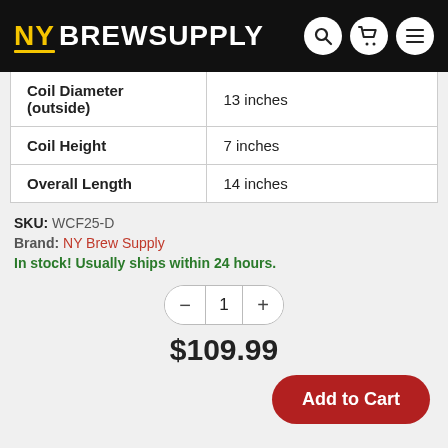NY BREW SUPPLY
| Coil Diameter (outside) | 13 inches |
| Coil Height | 7 inches |
| Overall Length | 14 inches |
SKU: WCF25-D
Brand: NY Brew Supply
In stock! Usually ships within 24 hours.
1
$109.99
Add to Cart